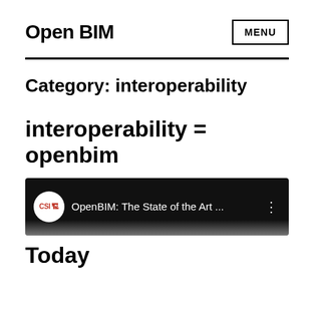Open BIM
Category: interoperability
interoperability = openbim
[Figure (screenshot): Video thumbnail with dark background showing CSI logo circle on left, text 'OpenBIM: The State of the Art ...' in white, and a three-dot menu icon on the right]
Today